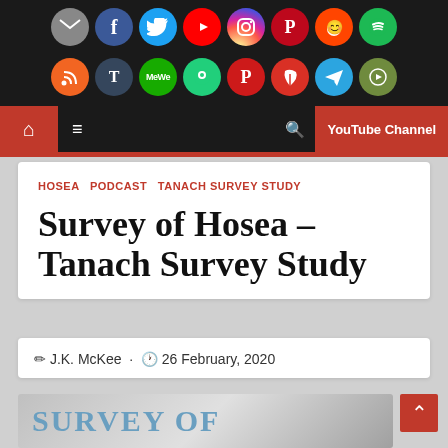[Figure (screenshot): Website navigation header with social media icons (email, Facebook, Twitter, YouTube, Instagram, Pinterest, Reddit, Spotify, RSS, Tumblr, MeWe, Gab, Parler, leaf-icon, Telegram, Rumble), a black nav bar with home icon, menu icon, search icon, and YouTube Channel button in red]
HOSEA  PODCAST  TANACH SURVEY STUDY
Survey of Hosea – Tanach Survey Study
J.K. McKee · 26 February, 2020
[Figure (photo): Partial preview image showing the text 'SURVEY OF' in large blue serif letters on a grey/dark background]